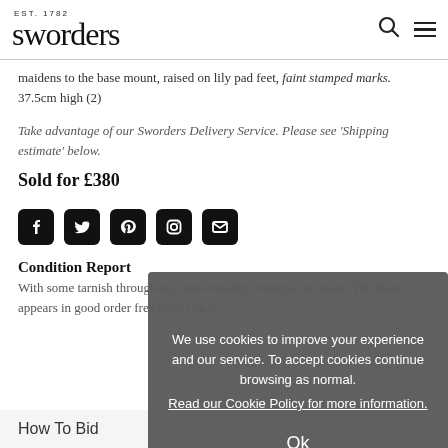EST. 1782 sworders
maidens to the base mount, raised on lily pad feet, faint stamped marks.
37.5cm high (2)
Take advantage of our Sworders Delivery Service. Please see 'Shipping estimate' below.
Sold for £380
[Figure (illustration): Social media icons: Facebook, Twitter, Pinterest, Instagram, and another icon]
Condition Report
With some tarnish throughout, more notably in deeper recesses. The glass appears in good order free from cracks.
We use cookies to improve your experience and our service. To accept cookies continue browsing as normal. Read our Cookie Policy for more information. Ok
How To Bid